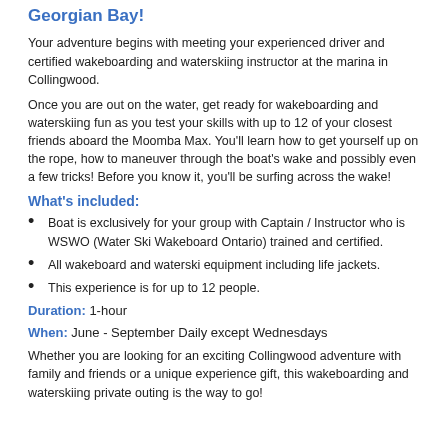Georgian Bay!
Your adventure begins with meeting your experienced driver and certified wakeboarding and waterskiing instructor at the marina in Collingwood.
Once you are out on the water, get ready for wakeboarding and waterskiing fun as you test your skills with up to 12 of your closest friends aboard the Moomba Max. You'll learn how to get yourself up on the rope, how to maneuver through the boat's wake and possibly even a few tricks! Before you know it, you'll be surfing across the wake!
What's included:
Boat is exclusively for your group with Captain / Instructor who is WSWO (Water Ski Wakeboard Ontario) trained and certified.
All wakeboard and waterski equipment including life jackets.
This experience is for up to 12 people.
Duration: 1-hour
When: June - September Daily except Wednesdays
Whether you are looking for an exciting Collingwood adventure with family and friends or a unique experience gift, this wakeboarding and waterskiing private outing is the way to go!